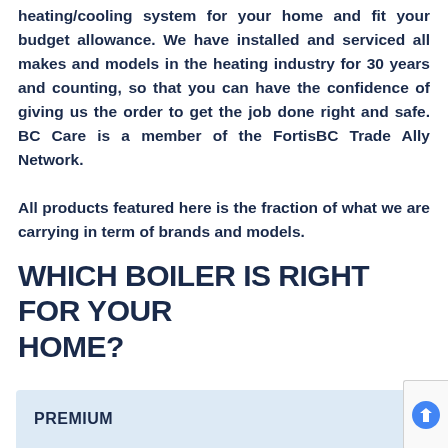heating/cooling system for your home and fit your budget allowance. We have installed and serviced all makes and models in the heating industry for 30 years and counting, so that you can have the confidence of giving us the order to get the job done right and safe. BC Care is a member of the FortisBC Trade Ally Network.
All products featured here is the fraction of what we are carrying in term of brands and models.
WHICH BOILER IS RIGHT FOR YOUR HOME?
PREMIUM